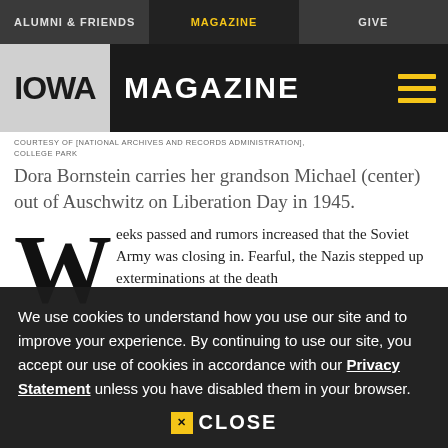ALUMNI & FRIENDS | MAGAZINE | GIVE
IOWA MAGAZINE
COURTESY OF [NATIONAL ARCHIVES AND RECORDS ADMINISTRATION], COLLEGE PARK
Dora Bornstein carries her grandson Michael (center) out of Auschwitz on Liberation Day in 1945.
Weeks passed and rumors increased that the Soviet Army was closing in. Fearful, the Nazis stepped up exterminations at the death
We use cookies to understand how you use our site and to improve your experience. By continuing to use our site, you accept our use of cookies in accordance with our Privacy Statement unless you have disabled them in your browser.